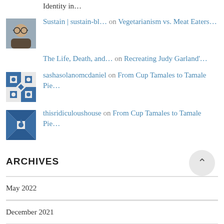Identity in...
Sustain | sustain-bl... on Vegetarianism vs. Meat Eaters...
The Life, Death, and... on Recreating Judy Garland'...
sashasolanomcdaniel on From Cup Tamales to Tamale Pie...
thisridiculoushouse on From Cup Tamales to Tamale Pie...
ARCHIVES
May 2022
December 2021